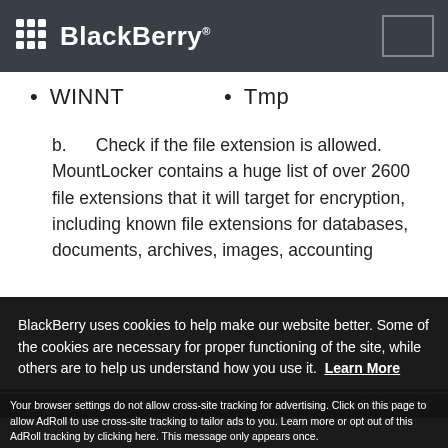BlackBerry
WINNT
Tmp
b.      Check if the file extension is allowed. MountLocker contains a huge list of over 2600 file extensions that it will target for encryption, including known file extensions for databases, documents, archives, images, accounting
BlackBerry uses cookies to help make our website better. Some of the cookies are necessary for proper functioning of the site, while others are to help us understand how you use it. Learn More
Accept and Close ✕
Your browser settings do not allow cross-site tracking for advertising. Click on this page to allow AdRoll to use cross-site tracking to tailor ads to you. Learn more or opt out of this AdRoll tracking by clicking here. This message only appears once.